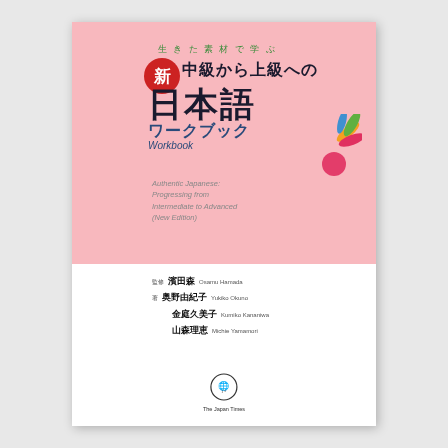[Figure (illustration): Book cover of '新 中級から上級への日本語 ワークブック Workbook' (Authentic Japanese: Progressing from Intermediate to Advanced New Edition) published by The Japan Times. Pink top half with Japanese title text, white bottom half with author names and publisher logo.]